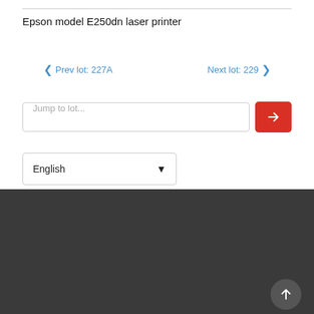Epson model E250dn laser printer
‹ Prev lot: 227A     Next lot: 229 ›
Jump to lot...
English
Home | Join mailing list | Terms & conditions
Privacy Policy| Terms of use| Client Money Protection| Corporate info & responsibilities| Complaints| Gender Pay Gap|
©2021 Lambert Smith Hampton, UK House, 180 Oxford Street, London, W1D 1NN, Tel: +44(0)20 7198 2000